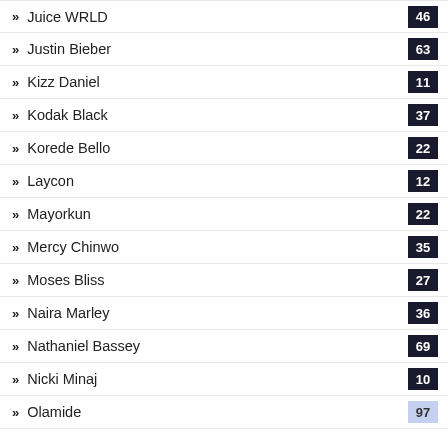Juice WRLD - 46
Justin Bieber - 63
Kizz Daniel - 11
Kodak Black - 37
Korede Bello - 22
Laycon - 12
Mayorkun - 22
Mercy Chinwo - 35
Moses Bliss - 27
Naira Marley - 36
Nathaniel Bassey - 69
Nicki Minaj - 10
Olamide - 97